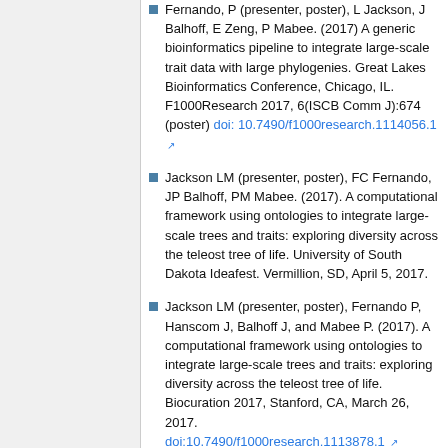Fernando, P (presenter, poster), L Jackson, J Balhoff, E Zeng, P Mabee. (2017) A generic bioinformatics pipeline to integrate large-scale trait data with large phylogenies. Great Lakes Bioinformatics Conference, Chicago, IL. F1000Research 2017, 6(ISCB Comm J):674 (poster) doi:10.7490/f1000research.1114056.1
Jackson LM (presenter, poster), FC Fernando, JP Balhoff, PM Mabee. (2017). A computational framework using ontologies to integrate large-scale trees and traits: exploring diversity across the teleost tree of life. University of South Dakota Ideafest. Vermillion, SD, April 5, 2017.
Jackson LM (presenter, poster), Fernando P, Hanscom J, Balhoff J, and Mabee P. (2017). A computational framework using ontologies to integrate large-scale trees and traits: exploring diversity across the teleost tree of life. Biocuration 2017, Stanford, CA, March 26, 2017. doi:10.7490/f1000research.1113878.1